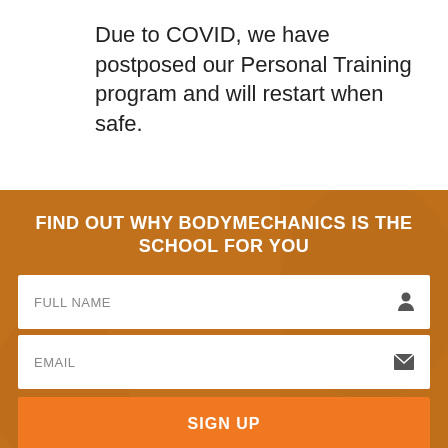Due to COVID, we have postposed our Personal Training program and will restart when safe.
FIND OUT WHY BODYMECHANICS IS THE SCHOOL FOR YOU
FULL NAME
EMAIL
SIGN UP